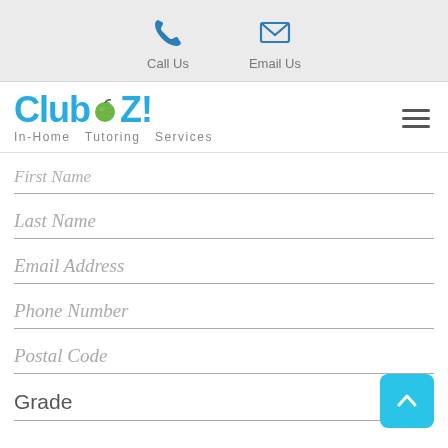[Figure (screenshot): Website header bar with phone and email contact icons labeled Call Us and Email Us on a light gray background]
[Figure (logo): Club Z! In-Home Tutoring Services logo in blue with green apple icon, and hamburger menu icon on the right]
First Name
Last Name
Email Address
Phone Number
Postal Code
Grade